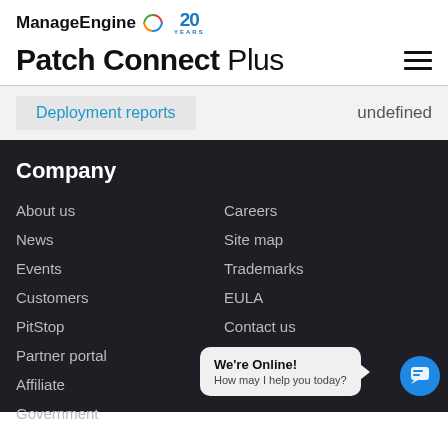ManageEngine 20 YEARS
Patch Connect Plus
Deployment reports
undefined
Company
About us
Careers
News
Site map
Events
Trademarks
Customers
EULA
PitStop
Contact us
Partner portal
Feedback
Affiliate
Government
We're Online! How may I help you today?